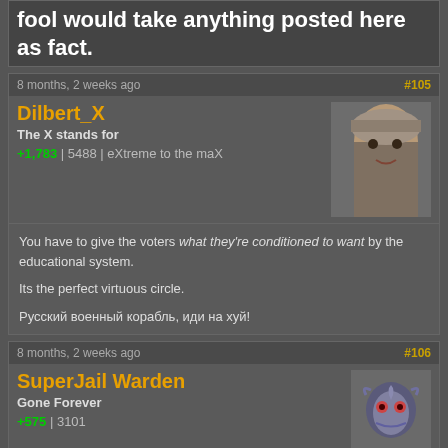...only a fool would take anything posted here as fact.
8 months, 2 weeks ago #105
Dilbert_X
The X stands for
+1,783 | 5488 | eXtreme to the maX
You have to give the voters what they're conditioned to want by the educational system.

Its the perfect virtuous circle.

Русский военный корабль, иди на хуй!
8 months, 2 weeks ago #106
SuperJail Warden
Gone Forever
+575 | 3101
Dilbert_X wrote:
You have to give the voters what they're conditioned to want by the educational system.